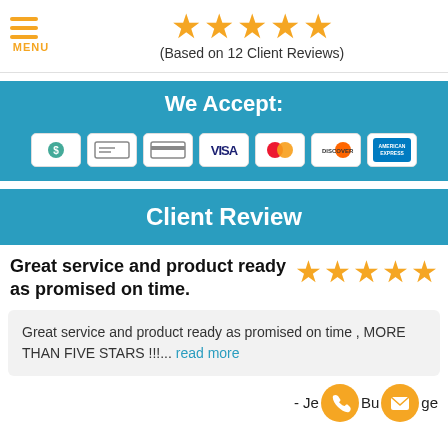[Figure (infographic): 5 gold stars rating with text '(Based on 12 Client Reviews)']
We Accept:
[Figure (infographic): Payment icons: cash, check, credit card, VISA, Mastercard, Discover, American Express]
Client Review
Great service and product ready as promised on time.
[Figure (infographic): 5 gold stars rating for review]
Great service and product ready as promised on time , MORE THAN FIVE STARS !!!... read more
- Je[phone icon]Bu[email icon]ge